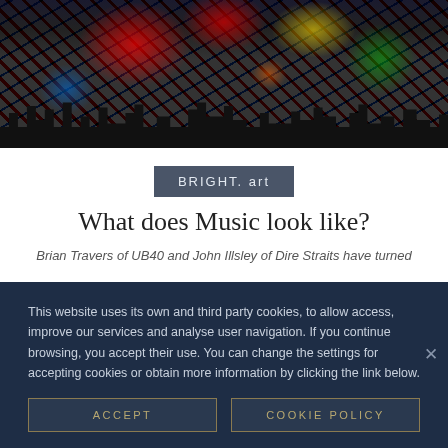[Figure (illustration): Abstract colorful art painting showing a city skyline silhouette in black with splashes of red, yellow, green, and blue paint scattered across the image]
BRIGHT. art
What does Music look like?
Brian Travers of UB40 and John Illsley of Dire Straits have turned
This website uses its own and third party cookies, to allow access, improve our services and analyse user navigation. If you continue browsing, you accept their use. You can change the settings for accepting cookies or obtain more information by clicking the link below.
ACCEPT
COOKIE POLICY